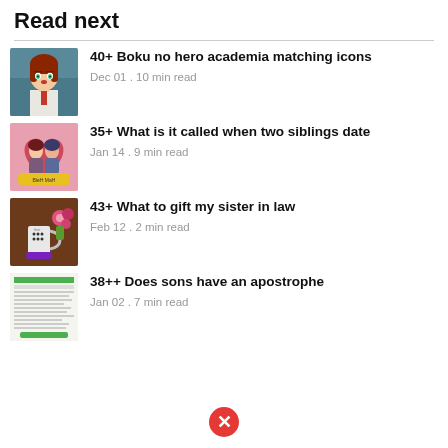Read next
40+ Boku no hero academia matching icons
Dec 01 . 10 min read
35+ What is it called when two siblings date
Jan 14 . 9 min read
43+ What to gift my sister in law
Feb 12 . 2 min read
38++ Does sons have an apostrophe
Jan 02 . 7 min read